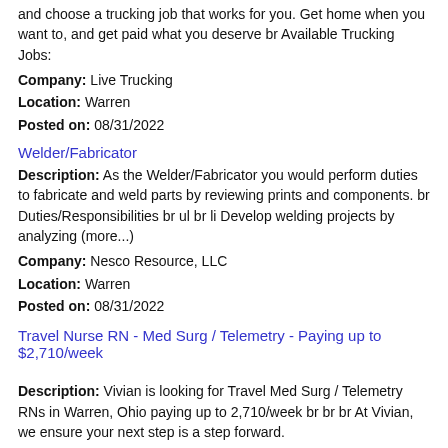and choose a trucking job that works for you. Get home when you want to, and get paid what you deserve br Available Trucking Jobs:
Company: Live Trucking
Location: Warren
Posted on: 08/31/2022
Welder/Fabricator
Description: As the Welder/Fabricator you would perform duties to fabricate and weld parts by reviewing prints and components. br Duties/Responsibilities br ul br li Develop welding projects by analyzing (more...)
Company: Nesco Resource, LLC
Location: Warren
Posted on: 08/31/2022
Travel Nurse RN - Med Surg / Telemetry - Paying up to $2,710/week
Description: Vivian is looking for Travel Med Surg / Telemetry RNs in Warren, Ohio paying up to 2,710/week br br br At Vivian, we ensure your next step is a step forward.
Company: Vivian Health
Location: Warren
Posted on: 08/31/2022